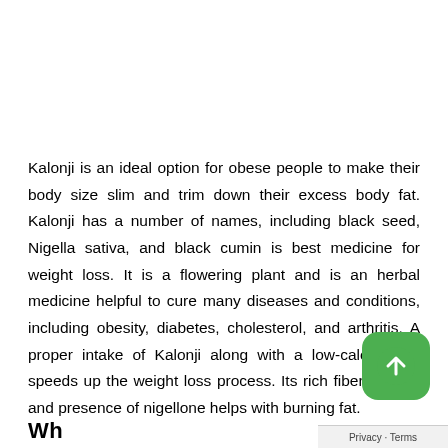Kalonji is an ideal option for obese people to make their body size slim and trim down their excess body fat. Kalonji has a number of names, including black seed, Nigella sativa, and black cumin is best medicine for weight loss. It is a flowering plant and is an herbal medicine helpful to cure many diseases and conditions, including obesity, diabetes, cholesterol, and arthritis. A proper intake of Kalonji along with a low-calorie diet speeds up the weight loss process. Its rich fiber content and presence of nigellone helps with burning fat.
Wh...